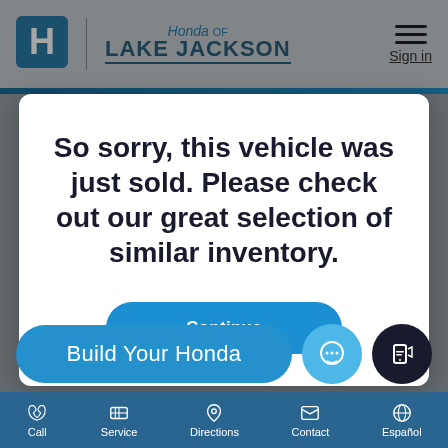Honda of Lake Jackson
So sorry, this vehicle was just sold. Please check out our great selection of similar inventory.
Continue
Build Your Honda
Call  Service  Directions  Contact  Español